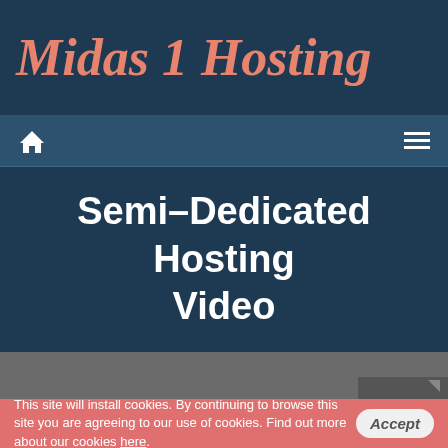Midas 1 Hosting
[Figure (screenshot): Navigation bar with home icon on left and hamburger menu icon on right]
Semi–Dedicated Hosting Video
[Figure (screenshot): Video player area - dark gray background with video controls at bottom right]
This site will install cookies. By continuing to browse this site you are agreeing to our use of cookies. Find out more about our cookies here.